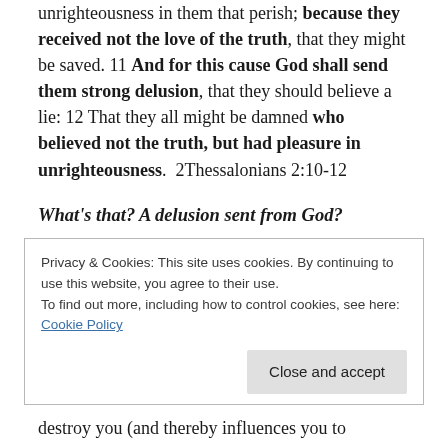And with all deceivableness of unrighteousness in them that perish; because they received not the love of the truth, that they might be saved. 11 And for this cause God shall send them strong delusion, that they should believe a lie: 12 That they all might be damned who believed not the truth, but had pleasure in unrighteousness.  2Thessalonians 2:10-12
What's that? A delusion sent from God?
Privacy & Cookies: This site uses cookies. By continuing to use this website, you agree to their use.
To find out more, including how to control cookies, see here: Cookie Policy
Close and accept
destroy you (and thereby influences you to